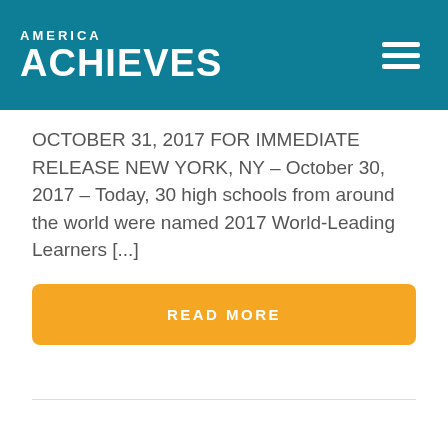AMERICA ACHIEVES
OCTOBER 31, 2017 FOR IMMEDIATE RELEASE NEW YORK, NY – October 30, 2017 – Today, 30 high schools from around the world were named 2017 World-Leading Learners [...]
READ MORE
1  2  3  4  5  →